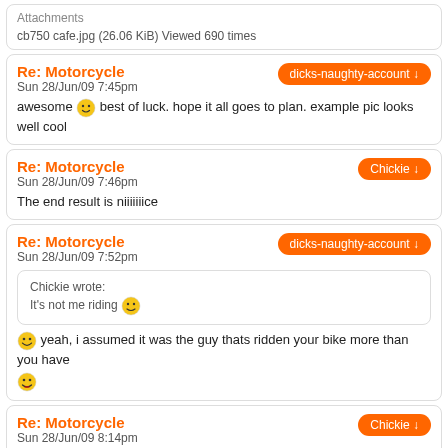Attachments
cb750 cafe.jpg (26.06 KiB) Viewed 690 times
Re: Motorcycle
Sun 28/Jun/09 7:45pm
dicks-naughty-account
awesome [emoji] best of luck. hope it all goes to plan. example pic looks well cool
Re: Motorcycle
Sun 28/Jun/09 7:46pm
Chickie
The end result is niiiiiiice
Re: Motorcycle
Sun 28/Jun/09 7:52pm
dicks-naughty-account
Chickie wrote:
It's not me riding [emoji]
[emoji] yeah, i assumed it was the guy thats ridden your bike more than you have [emoji]
Re: Motorcycle
Sun 28/Jun/09 8:14pm
Chickie
dicks-naughty-account wrote: